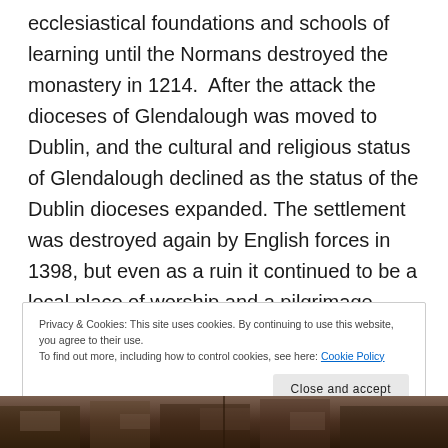ecclesiastical foundations and schools of learning until the Normans destroyed the monastery in 1214.  After the attack the dioceses of Glendalough was moved to Dublin, and the cultural and religious status of Glendalough declined as the status of the Dublin dioceses expanded. The settlement was destroyed again by English forces in 1398, but even as a ruin it continued to be a local place of worship and a pilgrimage destination.
Privacy & Cookies: This site uses cookies. By continuing to use this website, you agree to their use.
To find out more, including how to control cookies, see here: Cookie Policy
Close and accept
[Figure (photo): Sepia-toned historical photograph strip at bottom of page, partially visible, showing stone ruins or structures]